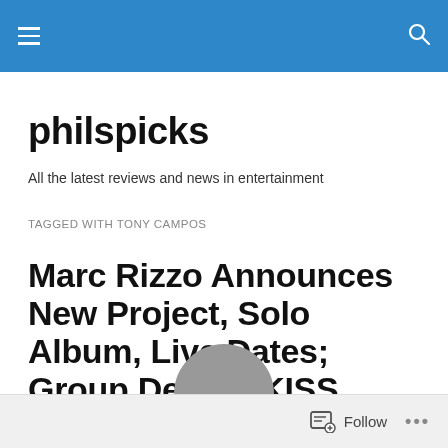philspicks — menu and search bar
philspicks
All the latest reviews and news in entertainment
TAGGED WITH TONY CAMPOS
Marc Rizzo Announces New Project, Solo Album, Live Dates; Group Debuts KISS Cover
Follow ...